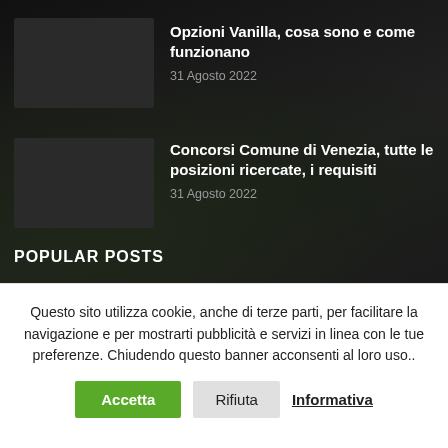Opzioni Vanilla, cosa sono e come funzionano
31 Agosto 2022
Concorsi Comune di Venezia, tutte le posizioni ricercate, i requisiti
31 Agosto 2022
POPULAR POSTS
Questo sito utilizza cookie, anche di terze parti, per facilitare la navigazione e per mostrarti pubblicità e servizi in linea con le tue preferenze. Chiudendo questo banner acconsenti al loro uso..
Accetta
Rifiuta
Informativa